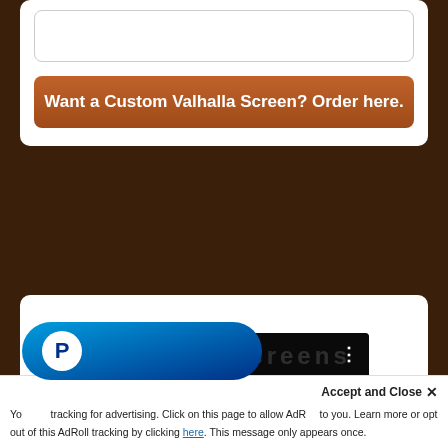[Figure (screenshot): White card with an empty input/text box at the top]
Want a Custom Valhalla Screen? Order here.
[Figure (screenshot): YouTube video thumbnail for 'Valhalla Screens: In...' with red play button, Valhalla Screens logo overlay, and dog badge icon]
[Figure (logo): PayPal button (blue pill-shaped with white P logo)]
Accept and Close ✕
You use tracking for advertising. Click on this page to allow AdRoll to you. Learn more or opt out of this AdRoll tracking by clicking here. This message only appears once.